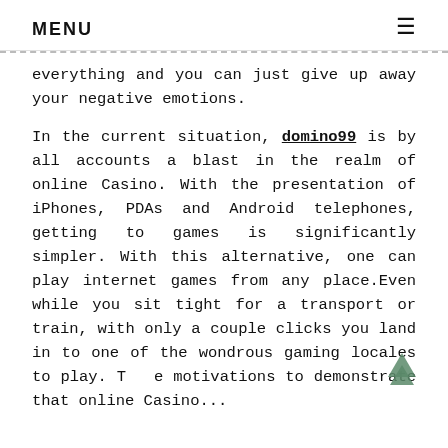MENU
everything and you can just give up away your negative emotions.
In the current situation, domino99 is by all accounts a blast in the realm of online Casino. With the presentation of iPhones, PDAs and Android telephones, getting to games is significantly simpler. With this alternative, one can play internet games from any place.Even while you sit tight for a transport or train, with only a couple clicks you land in to one of the wondrous gaming locales to play. The motivations to demonstrate that online Casino...